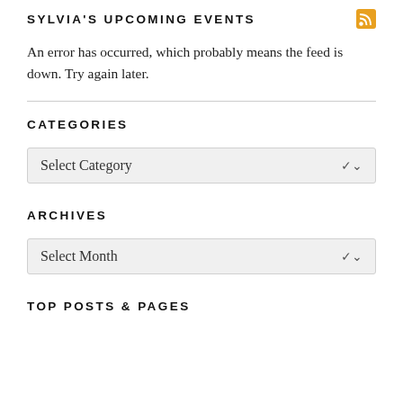SYLVIA'S UPCOMING EVENTS
An error has occurred, which probably means the feed is down. Try again later.
CATEGORIES
Select Category
ARCHIVES
Select Month
TOP POSTS & PAGES